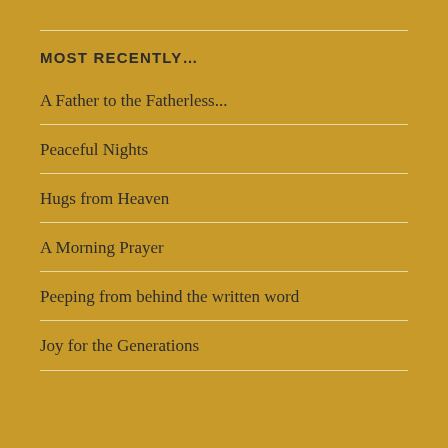MOST RECENTLY…
A Father to the Fatherless...
Peaceful Nights
Hugs from Heaven
A Morning Prayer
Peeping from behind the written word
Joy for the Generations